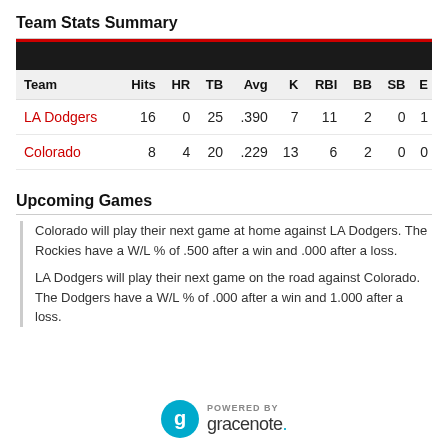Team Stats Summary
| Team | Hits | HR | TB | Avg | K | RBI | BB | SB | E |
| --- | --- | --- | --- | --- | --- | --- | --- | --- | --- |
| LA Dodgers | 16 | 0 | 25 | .390 | 7 | 11 | 2 | 0 | 1 |
| Colorado | 8 | 4 | 20 | .229 | 13 | 6 | 2 | 0 | 0 |
Upcoming Games
Colorado will play their next game at home against LA Dodgers. The Rockies have a W/L % of .500 after a win and .000 after a loss.
LA Dodgers will play their next game on the road against Colorado. The Dodgers have a W/L % of .000 after a win and 1.000 after a loss.
[Figure (logo): Powered by Gracenote logo]